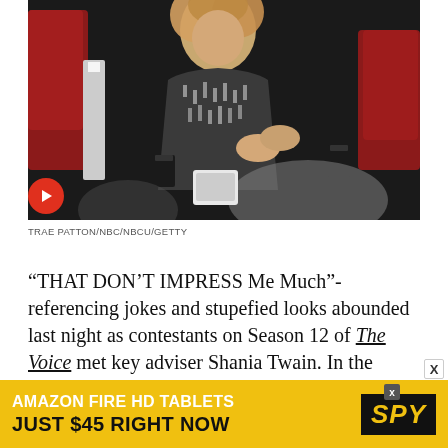[Figure (photo): Woman in sparkly/sequined dark jacket clapping or gesturing with hands, seated among red chairs on what appears to be The Voice TV show set. Background is dark with studio lighting.]
TRAE PATTON/NBC/NBCU/GETTY
“THAT DON’T IMPRESS Me Much”- referencing jokes and stupefied looks abounded last night as contestants on Season 12 of The Voice met key adviser Shania Twain. In the video above, the show’s hopefuls meet the country icon
[Figure (other): Advertisement banner: AMAZON FIRE HD TABLETS JUST $45 RIGHT NOW with SPY logo on yellow background]